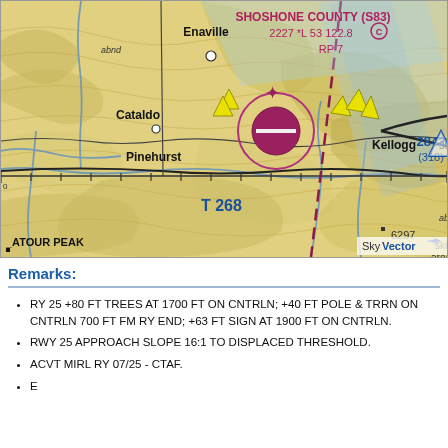[Figure (map): Aviation sectional chart excerpt showing Shoshone County (S83) airport area near Kellogg, Idaho. Shows topographic map with Enaville, Cataldo, Pinehurst, Kellogg labeled. Airport symbol with magenta ring, T 268 airway, elevation 2842 (318), 6297 spot elevation, ski area, abnd markings, dashed magenta restricted area line, SkyVector watermark.]
Remarks:
RY 25 +80 FT TREES AT 1700 FT ON CNTRLN; +40 FT POLE & TRRN ON CNTRLN 700 FT FM RY END; +63 FT SIGN AT 1900 FT ON CNTRLN.
RWY 25 APPROACH SLOPE 16:1 TO DISPLACED THRESHOLD.
ACVT MIRL RY 07/25 - CTAF.
E